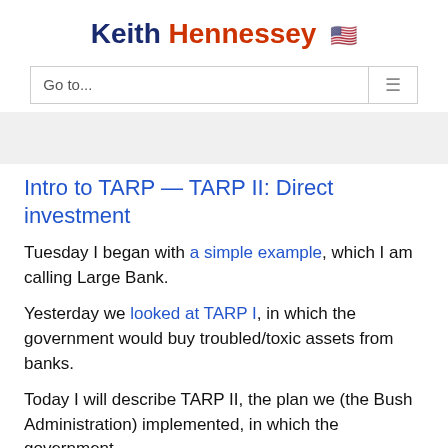Keith Hennessey 🇺🇸
Go to...
Intro to TARP — TARP II: Direct investment
Tuesday I began with a simple example, which I am calling Large Bank.
Yesterday we looked at TARP I, in which the government would buy troubled/toxic assets from banks.
Today I will describe TARP II, the plan we (the Bush Administration) implemented, in which the government